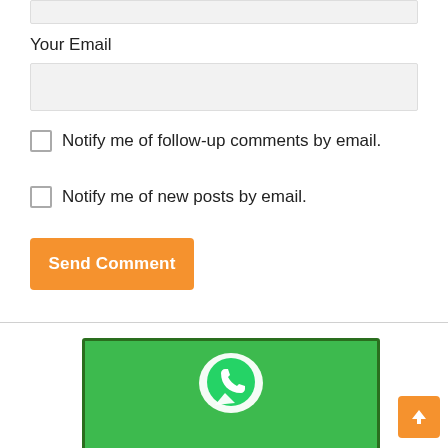Your Email
Notify me of follow-up comments by email.
Notify me of new posts by email.
Send Comment
[Figure (illustration): WhatsApp logo on a green background with partial text below]